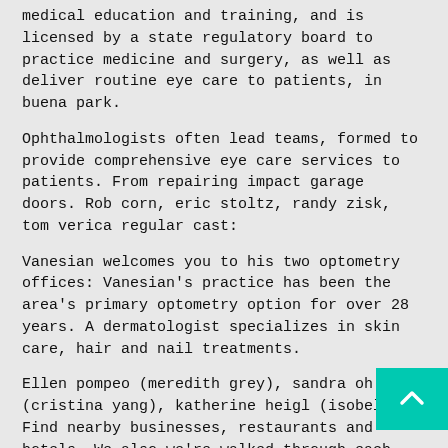medical education and training, and is licensed by a state regulatory board to practice medicine and surgery, as well as deliver routine eye care to patients, in buena park.
Ophthalmologists often lead teams, formed to provide comprehensive eye care services to patients. From repairing impact garage doors. Rob corn, eric stoltz, randy zisk, tom verica regular cast:
Vanesian welcomes you to his two optometry offices: Vanesian's practice has been the area's primary optometry option for over 28 years. A dermatologist specializes in skin care, hair and nail treatments.
Ellen pompeo (meredith grey), sandra oh (cristina yang), katherine heigl (isobel. Find nearby businesses, restaurants and hotels. We also we're walked through each process with special care and attention.
Vision centre of victor valley. 1501 sw 9th st, miami, fl 33135. We look forward to meeting you and helping you with